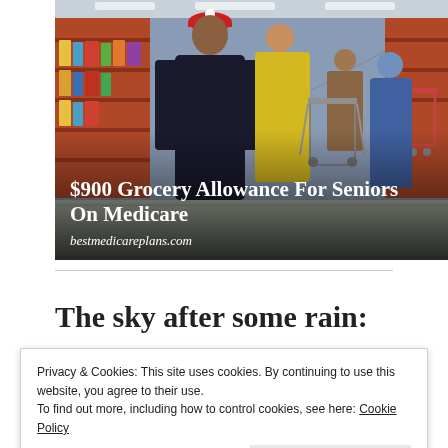[Figure (photo): Advertisement showing elderly shoppers in a grocery store with text overlay: '$900 Grocery Allowance For Seniors On Medicare' and URL 'bestmedicareplans.com']
The sky after some rain:
Privacy & Cookies: This site uses cookies. By continuing to use this website, you agree to their use. To find out more, including how to control cookies, see here: Cookie Policy
Close and accept
The air quality is, at least on paper, getting better. It